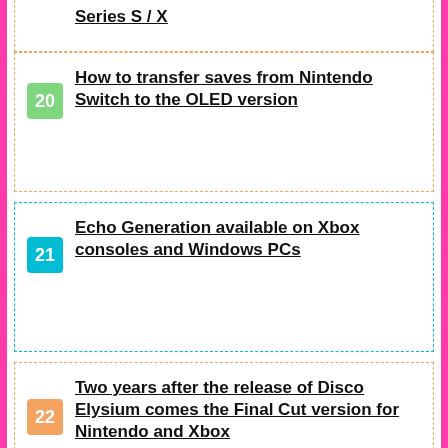Series S / X
How to transfer saves from Nintendo Switch to the OLED version
Echo Generation available on Xbox consoles and Windows PCs
Two years after the release of Disco Elysium comes the Final Cut version for Nintendo and Xbox